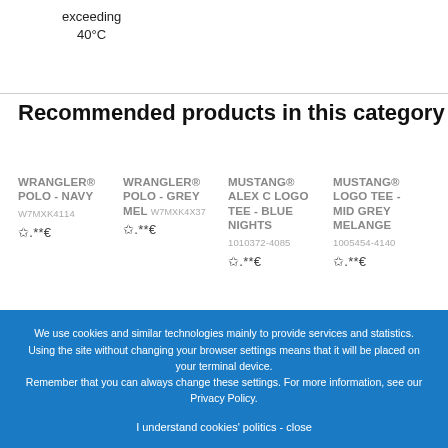exceeding
40°C
Recommended products in this category
WRANGLER® POLO - NAVY
W7MXK4114
*.**€
WRANGLER® POLO - GREY MEL W7MXK4X37
*.**€
MUSTANG® ALEX C LOGO TEE - BLUE NIGHTS
1010372-4085
*.**€
MUSTANG® LOGO TEE - MID GREY MELANGE
1005454-4140
*.**€
DELIVERY  EXCHANGE  RETURNS  MONEYBACK  COMPLAINTS
We use cookies and similar technologies mainly to provide services and statistics.
Using the site without changing your browser settings means that it will be placed on your terminal device.
Remember that you can always change these settings. For more information, see our Privacy Policy.

I understand cookies' politics - close